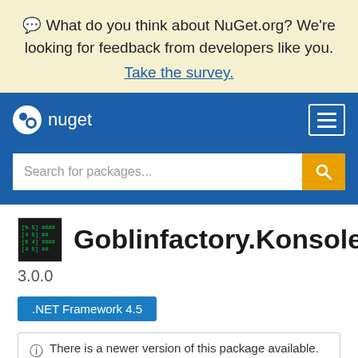💬 What do you think about NuGet.org? We're looking for feedback from developers like you. Take the survey.
[Figure (screenshot): NuGet.org website header with logo and search bar]
Goblinfactory.Konsole
3.0.0
.NET Framework 4.5
ⓘ There is a newer version of this package available.